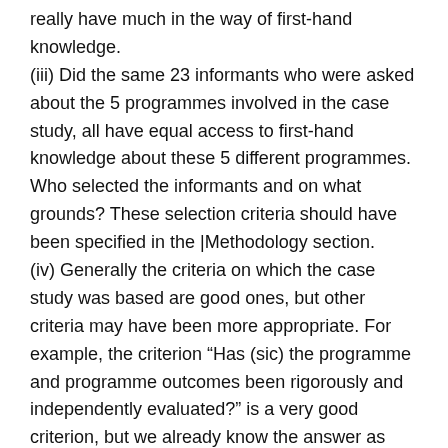really have much in the way of first-hand knowledge.
(iii) Did the same 23 informants who were asked about the 5 programmes involved in the case study, all have equal access to first-hand knowledge about these 5 different programmes. Who selected the informants and on what grounds? These selection criteria should have been specified in the |Methodology section.
(iv) Generally the criteria on which the case study was based are good ones, but other criteria may have been more appropriate. For example, the criterion “Has (sic) the programme and programme outcomes been rigorously and independently evaluated?” is a very good criterion, but we already know the answer as there are no rigorous outcome studies published under peer review on any of the 5 programmes being considered. Such studies take time and considerable resources. Thus a more reasonable